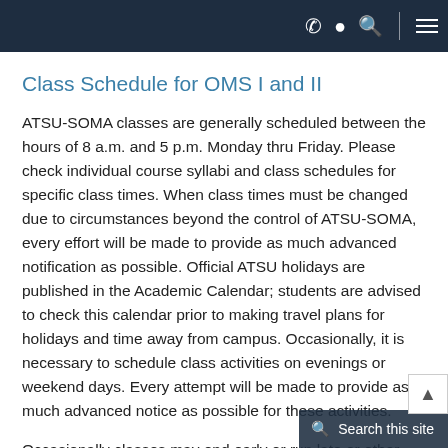Navigation bar with phone, location, search icons and hamburger menu
Class Schedule for OMS I and II
ATSU-SOMA classes are generally scheduled between the hours of 8 a.m. and 5 p.m. Monday thru Friday. Please check individual course syllabi and class schedules for specific class times. When class times must be changed due to circumstances beyond the control of ATSU-SOMA, every effort will be made to provide as much advanced notification as possible. Official ATSU holidays are published in the Academic Calendar; students are advised to check this calendar prior to making travel plans for holidays and time away from campus. Occasionally, it is necessary to schedule class activities on evenings or weekend days. Every attempt will be made to provide as much advanced notice as possible for these activities.
Occasionally classes may end early or run late or other circumstances may occur that will cause some lapse in the